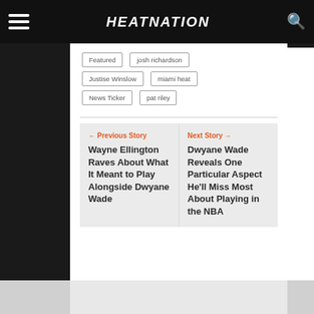HEATNATION
Featured
josh richardson
Justise Winslow
miami heat
News Ticker
pat riley
← Previous Story
Wayne Ellington Raves About What It Meant to Play Alongside Dwyane Wade
Next Story →
Dwyane Wade Reveals One Particular Aspect He'll Miss Most About Playing in the NBA